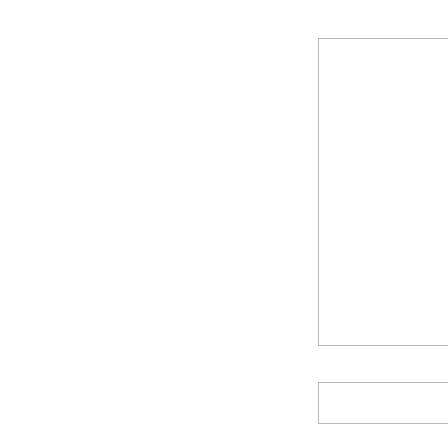[Figure (screenshot): Web comment form showing a large textarea for comment input, three text input fields labeled Name *, Email *, and Website, a checkbox, a 'Save my name' label with text about saving for next comment, a 'Leave Note' button, and a disclaimer about Akismet spam reduction. A decorative gold double-slash logo appears at the bottom.]
Name *
Email *
Website
Save my na... time I comm...
Leave Note
This site uses Akismet to reduce spam. Learn how your comment...